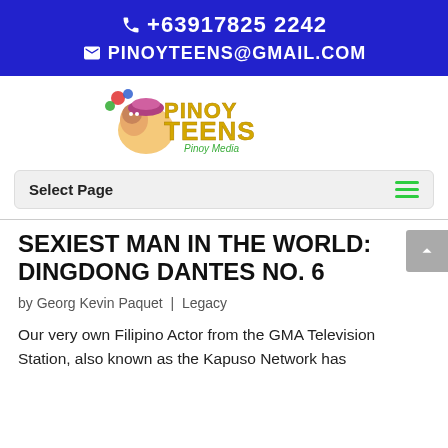+63917825224
PINOYTEENS@GMAIL.COM
[Figure (logo): Pinoy Teens logo with cartoon characters and colorful text reading 'PINOY TEENS' with a subtitle]
Select Page
SEXIEST MAN IN THE WORLD: DINGDONG DANTES NO. 6
by Georg Kevin Paquet | Legacy
Our very own Filipino Actor from the GMA Television Station, also known as the Kapuso Network has